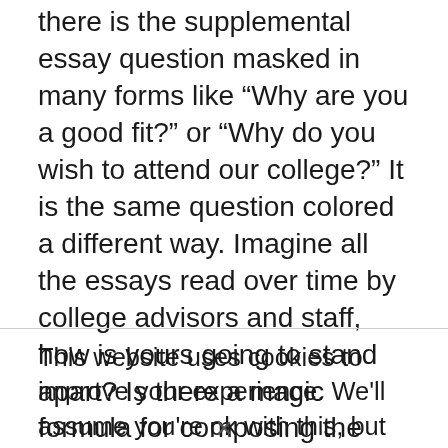there is the supplemental essay question masked in many forms like “Why are you a good fit?” or “Why do you wish to attend our college?” It is the same question colored a different way. Imagine all the essays read over time by college advisors and staff, how is yours going to stand apart? Is there a magic formula for composing the perfect entrance essay? The answer to this question is yes; if you are savvy enough to know the dos and don’ts of the writing process. Here are some suggestions to personalize your writing and get you noticed.
This website uses cookies to improve your experience. We'll assume you're ok with this, but you can opt-out if